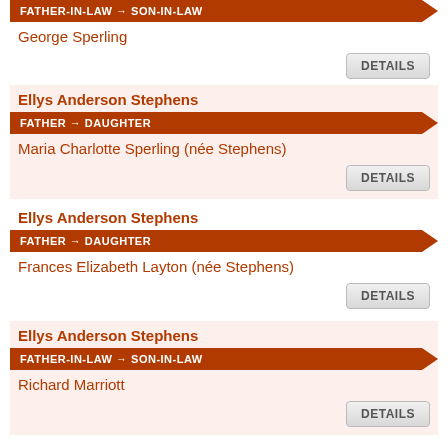FATHER-IN-LAW → SON-IN-LAW
George Sperling
DETAILS
Ellys Anderson Stephens
FATHER → DAUGHTER
Maria Charlotte Sperling (née Stephens)
DETAILS
Ellys Anderson Stephens
FATHER → DAUGHTER
Frances Elizabeth Layton (née Stephens)
DETAILS
Ellys Anderson Stephens
FATHER-IN-LAW → SON-IN-LAW
Richard Marriott
DETAILS
Ellys Anderson Stephens
FATHER → DAUGHTER